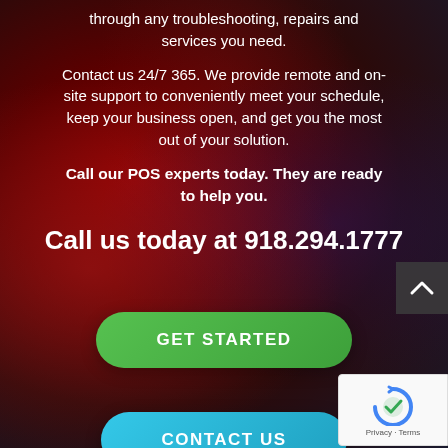through any troubleshooting, repairs and services you need.
Contact us 24/7 365. We provide remote and on-site support to conveniently meet your schedule, keep your business open, and get you the most out of your solution.
Call our POS experts today. They are ready to help you.
Call us today at 918.294.1777
[Figure (other): Green rounded button labeled GET STARTED]
[Figure (other): Cyan/blue rounded button labeled CONTACT US]
[Figure (other): Gray scroll-to-top button with caret icon on right side]
[Figure (other): reCAPTCHA badge showing Privacy and Terms links]